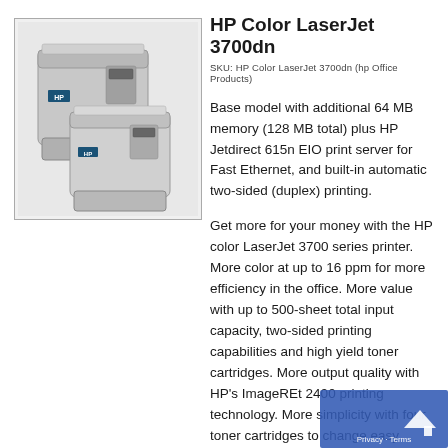[Figure (photo): Two HP Color LaserJet 3700dn printers shown from a slight angle, silver/gray color, inside a bordered box.]
HP Color LaserJet 3700dn
SKU: HP Color LaserJet 3700dn (hp Office Products)
Base model with additional 64 MB memory (128 MB total) plus HP Jetdirect 615n EIO print server for Fast Ethernet, and built-in automatic two-sided (duplex) printing.
Get more for your money with the HP color LaserJet 3700 series printer. More color at up to 16 ppm for more efficiency in the office. More value with up to 500-sheet total input capacity, two-sided printing capabilities and high yield toner cartridges. More output quality with HP’s ImageREt 2400 printing technology. More simplicity with four toner cartridges to change easy access to supplies and their